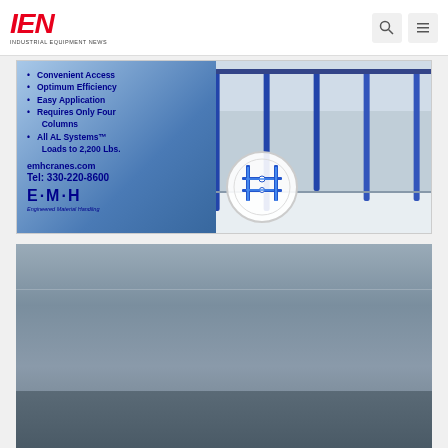IEN Industrial Equipment News
[Figure (photo): EMH advertisement showing crane system with bullet points: Convenient Access, Optimum Efficiency, Easy Application, Requires Only Four Columns, All AL Systems™ Loads to 2,200 Lbs. emhcranes.com Tel: 330-220-8600 E·M·H Engineered Material Handling]
[Figure (photo): Industrial factory floor showing yellow robotic arms working on car bodies on an assembly line, viewed from above]